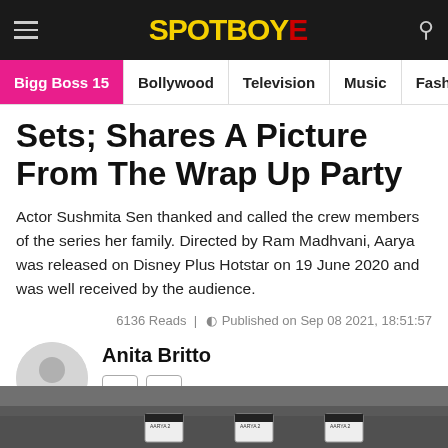SPOTBOYE
Bigg Boss 15 | Bollywood | Television | Music | Fashion
Sets; Shares A Picture From The Wrap Up Party
Actor Sushmita Sen thanked and called the crew members of the series her family. Directed by Ram Madhvani, Aarya was released on Disney Plus Hotstar on 19 June 2020 and was well received by the audience.
6136 Reads | Published on Sep 08 2021, 18:51:57
Anita Britto
[Figure (photo): Bottom strip showing a wrap-up party photo with people on set and AARYA 2 clapperboards visible]